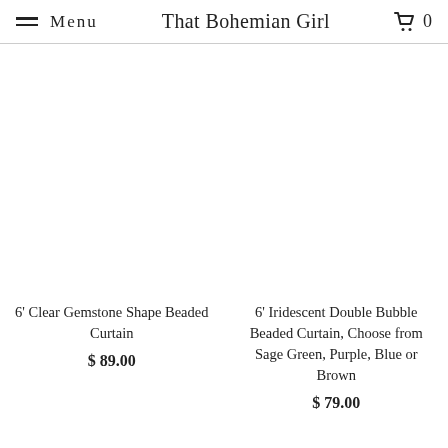Menu   That Bohemian Girl   0
6' Clear Gemstone Shape Beaded Curtain
$ 89.00
6' Iridescent Double Bubble Beaded Curtain, Choose from Sage Green, Purple, Blue or Brown
$ 79.00